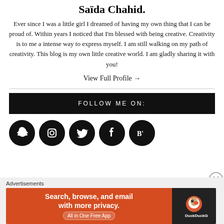Saïda Chahid.
Ever since I was a little girl I dreamed of having my own thing that I can be proud of. Within years I noticed that I'm blessed with being creative. Creativity is to me a intense way to express myself. I am still walking on my path of creativity. This blog is my own little creative world. I am gladly sharing it with you!
View Full Profile →
FOLLOW ME ON:
[Figure (illustration): Five black circular social media icons: Snapchat, Instagram, Twitter, Facebook, Bloglovin]
Advertisements
[Figure (screenshot): DuckDuckGo advertisement banner: 'Search, browse, and email with more privacy. All in One Free App' with DuckDuckGo logo on dark right panel]